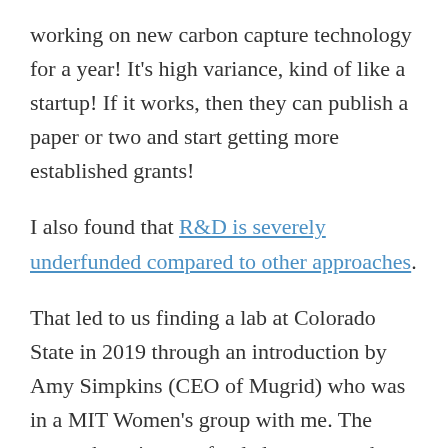working on new carbon capture technology for a year! It's high variance, kind of like a startup! If it works, then they can publish a paper or two and start getting more established grants!
I also found that R&D is severely underfunded compared to other approaches.
That led to us finding a lab at Colorado State in 2019 through an introduction by Amy Simpkins (CEO of Mugrid) who was in a MIT Women's group with me. The research project we funded was to work on thin-film micro-algae for carbon capture purposes, the first of